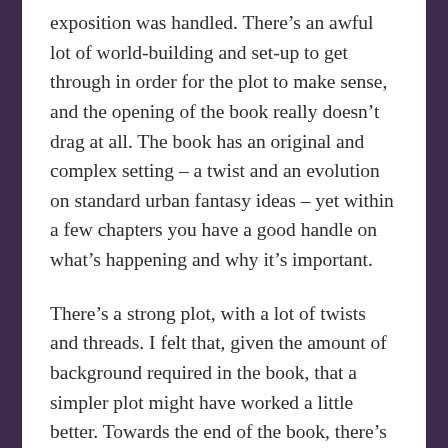exposition was handled. There's an awful lot of world-building and set-up to get through in order for the plot to make sense, and the opening of the book really doesn't drag at all. The book has an original and complex setting – a twist and an evolution on standard urban fantasy ideas – yet within a few chapters you have a good handle on what's happening and why it's important.
There's a strong plot, with a lot of twists and threads. I felt that, given the amount of background required in the book, that a simpler plot might have worked a little better. Towards the end of the book, there's almost too much going on. Dead Witch Walking is the first book in